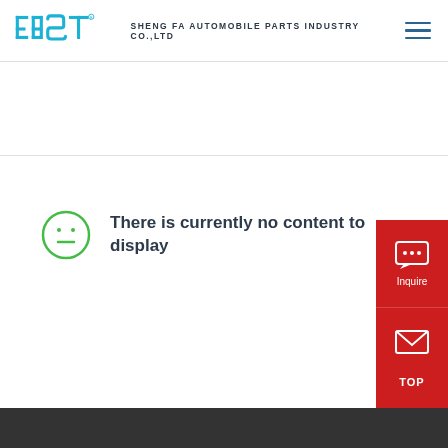EBS SHENG FA AUTOMOBILE PARTS INDUSTRY CO.,LTD
There is currently no content to display
[Figure (other): Inquire button with speech bubble icon on red background]
[Figure (other): E-mail button with envelope icon on red background]
[Figure (other): TOP button on red background]